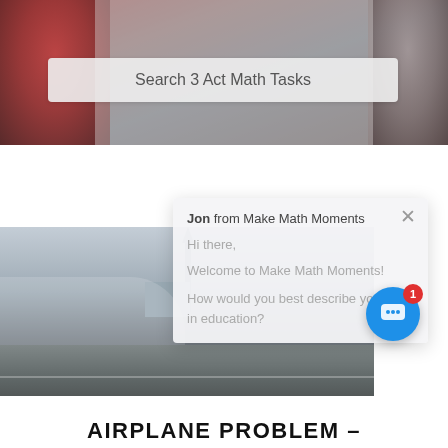[Figure (screenshot): Top banner with red and grey cups/containers blurred in background]
Search 3 Act Math Tasks
[Figure (photo): Photo of CN Tower and airplane area in Toronto, road/ground in foreground]
Jon from Make Math Moments
Hi there,
Welcome to Make Math Moments!
How would you best describe your role in education?
AIRPLANE PROBLEM –